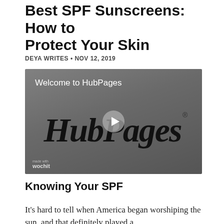Best SPF Sunscreens: How to Protect Your Skin
DEYA WRITES • NOV 12, 2019
[Figure (screenshot): Video player showing HubPages welcome video. Gray gradient background with 'Welcome to HubPages' text in white at top left, HubPages logo in large black script with play button overlay in center, and wochit logo in bottom left corner.]
Knowing Your SPF
It's hard to tell when America began worshiping the sun, and that definitely played a...